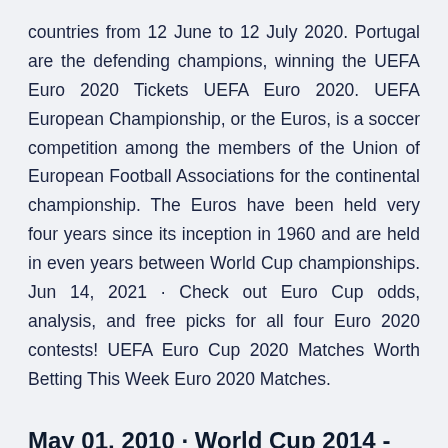countries from 12 June to 12 July 2020. Portugal are the defending champions, winning the UEFA Euro 2020 Tickets UEFA Euro 2020. UEFA European Championship, or the Euros, is a soccer competition among the members of the Union of European Football Associations for the continental championship. The Euros have been held very four years since its inception in 1960 and are held in even years between World Cup championships. Jun 14, 2021 · Check out Euro Cup odds, analysis, and free picks for all four Euro 2020 contests! UEFA Euro Cup 2020 Matches Worth Betting This Week Euro 2020 Matches.
May 01, 2010 · World Cup 2014 - Brazil euro 2020 - ticket exchange.